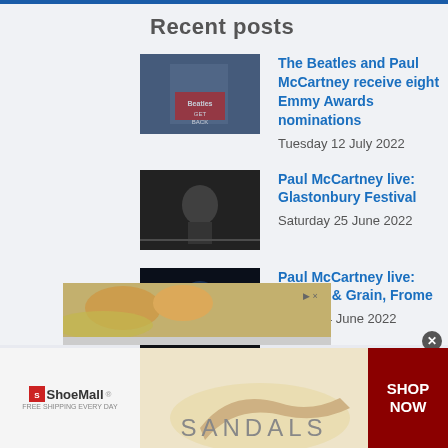Recent posts
[Figure (photo): Beatles Get Back album/movie cover thumbnail]
The Beatles and Paul McCartney receive eight Emmy Awards nominations
Tuesday 12 July 2022
[Figure (photo): Black and white photo of Paul McCartney performing at Glastonbury Festival]
Paul McCartney live: Glastonbury Festival
Saturday 25 June 2022
[Figure (photo): Paul McCartney performing live at Cheese & Grain, Frome]
Paul McCartney live: Cheese & Grain, Frome
Friday 24 June 2022
[Figure (photo): Food advertisement banner showing bread rolls and cheese]
[Figure (photo): ShoeMall advertisement banner showing sandals with SANDALS text and SHOP NOW button]